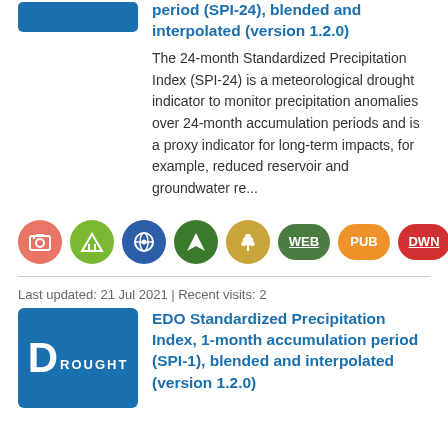period (SPI-24), blended and interpolated (version 1.2.0)
The 24-month Standardized Precipitation Index (SPI-24) is a meteorological drought indicator to monitor precipitation anomalies over 24-month accumulation periods and is a proxy indicator for long-term impacts, for example, reduced reservoir and groundwater re...
[Figure (infographic): Row of circular/pill-shaped icon buttons: camera icon (salmon), chart icon (lime green), eye/globe icon (blue), navigation icon (dark green), wheat icon (tan), WEB pill (medium green), PUB pill (orange), DWN pill (red), GEO pill (gray)]
Last updated: 21 Jul 2021 | Recent visits: 2
[Figure (logo): Blue rectangle badge with large D letter followed by ROUGHT text, representing DROUGHT category label]
EDO Standardized Precipitation Index, 1-month accumulation period (SPI-1), blended and interpolated (version 1.2.0)